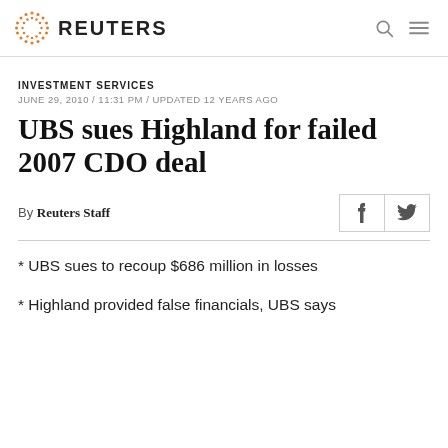REUTERS
INVESTMENT SERVICES
JUNE 29, 2010 / 11:31 PM / UPDATED 12 YEARS AGO
UBS sues Highland for failed 2007 CDO deal
By Reuters Staff
* UBS sues to recoup $686 million in losses
* Highland provided false financials, UBS says